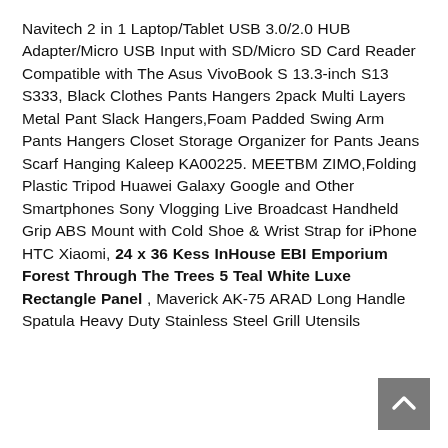Navitech 2 in 1 Laptop/Tablet USB 3.0/2.0 HUB Adapter/Micro USB Input with SD/Micro SD Card Reader Compatible with The Asus VivoBook S 13.3-inch S13 S333, Black Clothes Pants Hangers 2pack Multi Layers Metal Pant Slack Hangers,Foam Padded Swing Arm Pants Hangers Closet Storage Organizer for Pants Jeans Scarf Hanging Kaleep KA00225. MEETBM ZIMO,Folding Plastic Tripod Huawei Galaxy Google and Other Smartphones Sony Vlogging Live Broadcast Handheld Grip ABS Mount with Cold Shoe & Wrist Strap for iPhone HTC Xiaomi, 24 x 36 Kess InHouse EBI Emporium Forest Through The Trees 5 Teal White Luxe Rectangle Panel , Maverick AK-75 ARAD Long Handle Spatula Heavy Duty Stainless Steel Grill Utensils